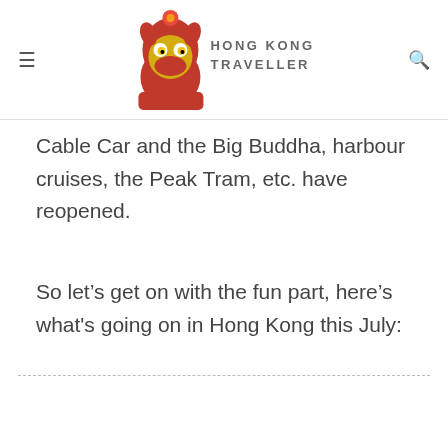HONG KONG TRAVELLER
Cable Car and the Big Buddha, harbour cruises, the Peak Tram, etc. have reopened.
So let’s get on with the fun part, here’s what’s going on in Hong Kong this July: